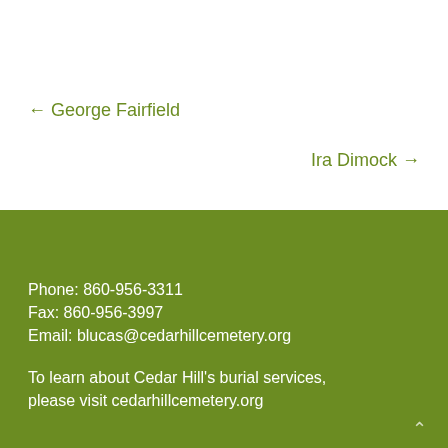← George Fairfield
Ira Dimock →
Phone: 860-956-3311
Fax: 860-956-3997
Email: blucas@cedarhillcemetery.org

To learn about Cedar Hill's burial services, please visit cedarhillcemetery.org